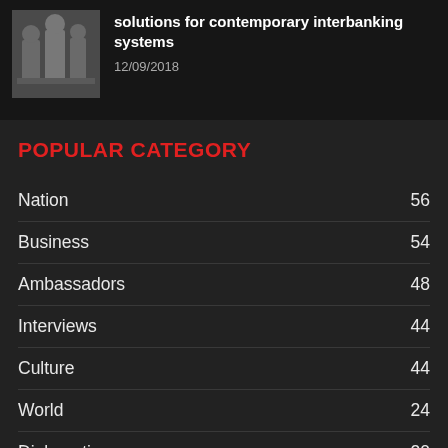[Figure (photo): Thumbnail photo of people in formal attire at an event]
solutions for contemporary interbanking systems
12/09/2018
POPULAR CATEGORY
Nation 56
Business 54
Ambassadors 48
Interviews 44
Culture 44
World 24
Diplomatic spouse 20
Analyses 20
News 14